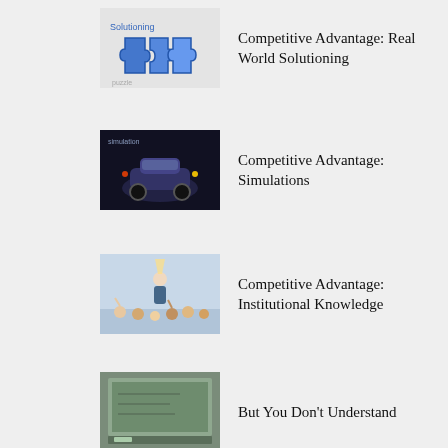Competitive Advantage: Real World Solutioning
Competitive Advantage: Simulations
Competitive Advantage: Institutional Knowledge
But You Don’t Understand